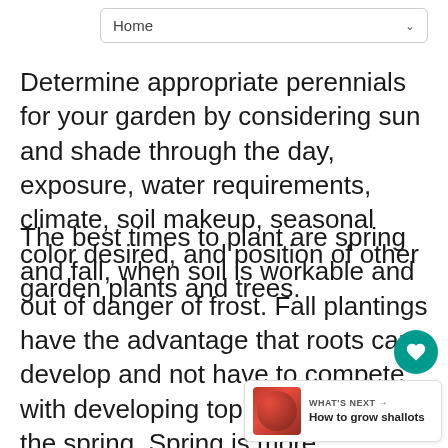Home
Determine appropriate perennials for your garden by considering sun and shade through the day, exposure, water requirements, climate, soil makeup, seasonal color desired, and position of other garden plants and trees.
The best times to plant are spring and fall, when soil is workable and out of danger of frost. Fall plantings have the advantage that roots can develop and not have to compete with developing top growth as in the spring. Spring is more desirable for perennials that dislike wet conditions or for colder areas, allowing full establishment before first frost. Planting in summer or winter is not advisable